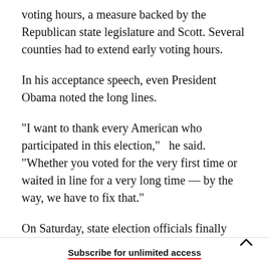voting hours, a measure backed by the Republican state legislature and Scott. Several counties had to extend early voting hours.
In his acceptance speech, even President Obama noted the long lines.
"I want to thank every American who participated in this election,"  he said. "Whether you voted for the very first time or waited in line for a very long time — by the way, we have to fix that."
On Saturday, state election officials finally called Florida for Obama, four days after the election.
Subscribe for unlimited access